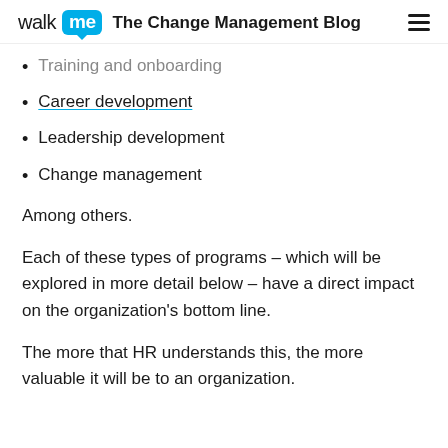walk me The Change Management Blog
Training and onboarding
Career development
Leadership development
Change management
Among others.
Each of these types of programs – which will be explored in more detail below – have a direct impact on the organization's bottom line.
The more that HR understands this, the more valuable it will be to an organization.